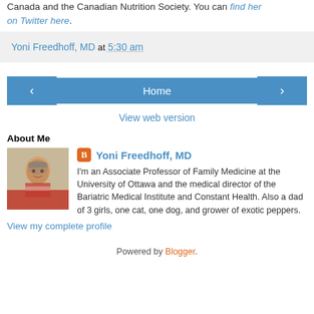Canada and the Canadian Nutrition Society. You can find her on Twitter here.
Yoni Freedhoff, MD at 5:30 am
[Figure (other): Navigation bar with left arrow, Home button, and right arrow buttons in blue]
View web version
About Me
[Figure (photo): Photo of Yoni Freedhoff, MD - a man with short grey hair wearing a red jacket]
Yoni Freedhoff, MD
I'm an Associate Professor of Family Medicine at the University of Ottawa and the medical director of the Bariatric Medical Institute and Constant Health. Also a dad of 3 girls, one cat, one dog, and grower of exotic peppers.
View my complete profile
Powered by Blogger.